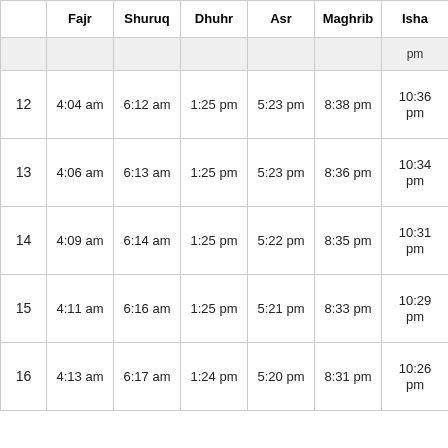|  | Fajr | Shuruq | Dhuhr | Asr | Maghrib | Isha |
| --- | --- | --- | --- | --- | --- | --- |
|  |  |  |  |  |  | pm |
| 12 | 4:04 am | 6:12 am | 1:25 pm | 5:23 pm | 8:38 pm | 10:36 pm |
| 13 | 4:06 am | 6:13 am | 1:25 pm | 5:23 pm | 8:36 pm | 10:34 pm |
| 14 | 4:09 am | 6:14 am | 1:25 pm | 5:22 pm | 8:35 pm | 10:31 pm |
| 15 | 4:11 am | 6:16 am | 1:25 pm | 5:21 pm | 8:33 pm | 10:29 pm |
| 16 | 4:13 am | 6:17 am | 1:24 pm | 5:20 pm | 8:31 pm | 10:26 pm |